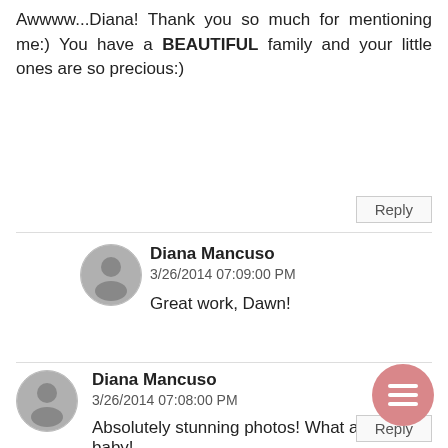Awwww...Diana! Thank you so much for mentioning me:) You have a BEAUTIFUL family and your little ones are so precious:)
Reply
Diana Mancuso
3/26/2014 07:09:00 PM
Great work, Dawn!
Diana Mancuso
3/26/2014 07:08:00 PM
Absolutely stunning photos! What a [great] baby!
Reply